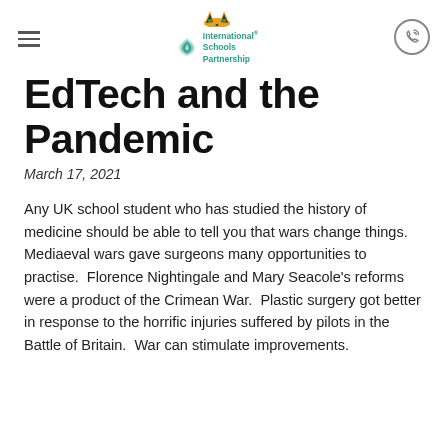International Schools Partnership
EdTech and the Pandemic
March 17, 2021
Any UK school student who has studied the history of medicine should be able to tell you that wars change things.  Mediaeval wars gave surgeons many opportunities to practise.  Florence Nightingale and Mary Seacole's reforms were a product of the Crimean War.  Plastic surgery got better in response to the horrific injuries suffered by pilots in the Battle of Britain.  War can stimulate improvements.